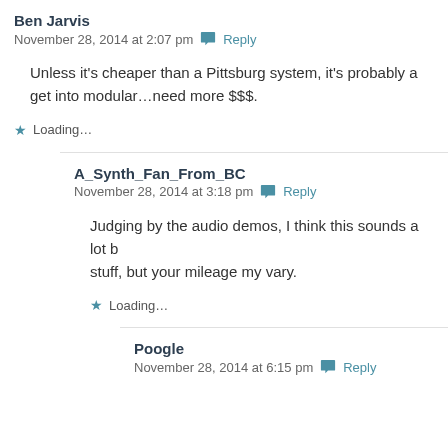Ben Jarvis
November 28, 2014 at 2:07 pm  Reply
Unless it's cheaper than a Pittsburg system, it's probably a get into modular...need more $$$.
Loading...
A_Synth_Fan_From_BC
November 28, 2014 at 3:18 pm  Reply
Judging by the audio demos, I think this sounds a lot b stuff, but your mileage my vary.
Loading...
Poogle
November 28, 2014 at 6:15 pm  Reply